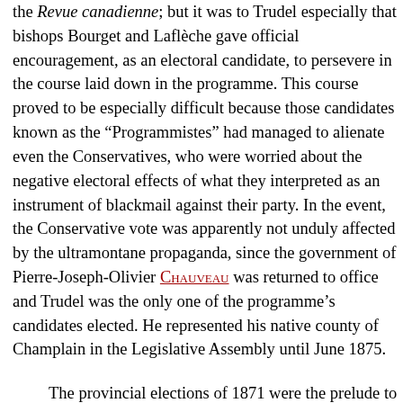the Revue canadienne; but it was to Trudel especially that bishops Bourget and Laflèche gave official encouragement, as an electoral candidate, to persevere in the course laid down in the programme. This course proved to be especially difficult because those candidates known as the “Programmistes” had managed to alienate even the Conservatives, who were worried about the negative electoral effects of what they interpreted as an instrument of blackmail against their party. In the event, the Conservative vote was apparently not unduly affected by the ultramontane propaganda, since the government of Pierre-Joseph-Olivier Chauveau was returned to office and Trudel was the only one of the programme’s candidates elected. He represented his native county of Champlain in the Legislative Assembly until June 1875.
The provincial elections of 1871 were the prelude to a political career for Trudel extending over about two decades, during which time he performed various duties. In 1875, while he was still serving as an MLA, he was appointed queen’s counsel in the province of Quebec, and five years later was given the same